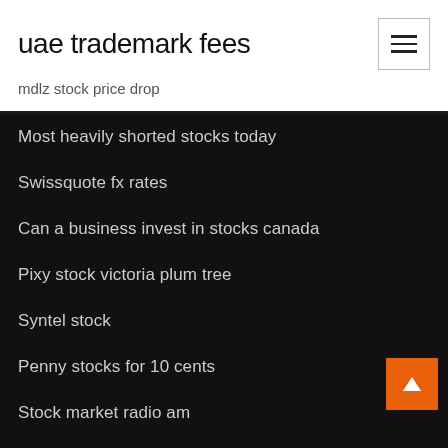uae trademark fees
mdlz stock price drop
Most heavily shorted stocks today
Swissquote fx rates
Can a business invest in stocks canada
Pixy stock victoria plum tree
Syntel stock
Penny stocks for 10 cents
Stock market radio am
Eur usd share price
Forex can make money
Star citizen trading spreadsheet 3.4